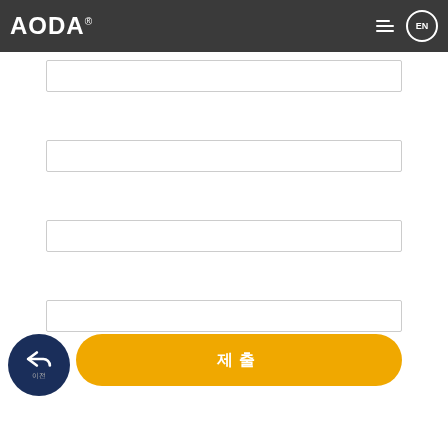AODA® EN
[Figure (screenshot): Input form fields with back button and submit button on a white background]
제출